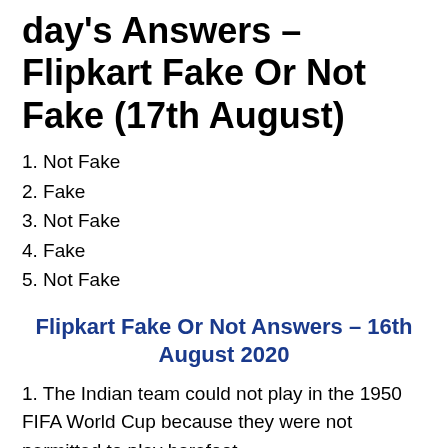day's Answers – Flipkart Fake Or Not Fake (17th August)
1. Not Fake
2. Fake
3. Not Fake
4. Fake
5. Not Fake
Flipkart Fake Or Not Answers – 16th August 2020
1. The Indian team could not play in the 1950 FIFA World Cup because they were not permitted to play barefoot